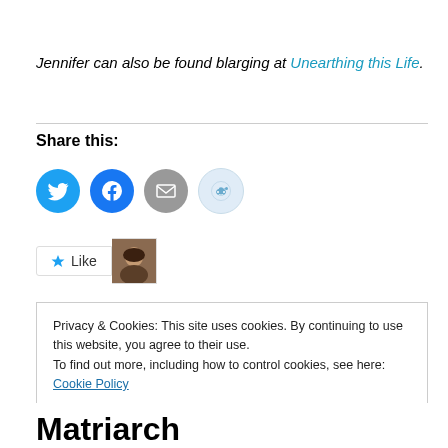Jennifer can also be found blarging at Unearthing this Life.
Share this:
[Figure (infographic): Share buttons: Twitter (blue circle), Facebook (blue circle), Email (grey circle), Reddit (light blue circle)]
[Figure (infographic): Like button with star icon and a user avatar photo]
Privacy & Cookies: This site uses cookies. By continuing to use this website, you agree to their use.
To find out more, including how to control cookies, see here: Cookie Policy
Close and accept
Matriarch